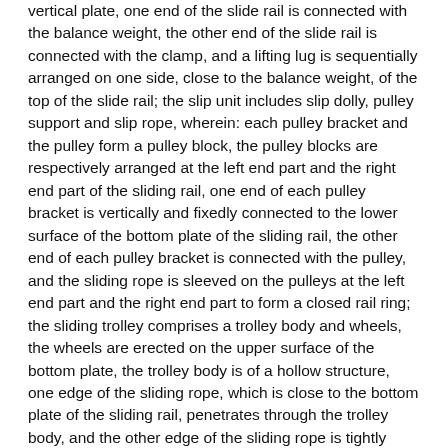vertical plate, one end of the slide rail is connected with the balance weight, the other end of the slide rail is connected with the clamp, and a lifting lug is sequentially arranged on one side, close to the balance weight, of the top of the slide rail; the slip unit includes slip dolly, pulley support and slip rope, wherein: each pulley bracket and the pulley form a pulley block, the pulley blocks are respectively arranged at the left end part and the right end part of the sliding rail, one end of each pulley bracket is vertically and fixedly connected to the lower surface of the bottom plate of the sliding rail, the other end of each pulley bracket is connected with the pulley, and the sliding rope is sleeved on the pulleys at the left end part and the right end part to form a closed rail ring; the sliding trolley comprises a trolley body and wheels, the wheels are erected on the upper surface of the bottom plate, the trolley body is of a hollow structure, one edge of the sliding rope, which is close to the bottom plate of the sliding rail, penetrates through the trolley body, and the other edge of the sliding rope is tightly attached to the lower surface of the trolley body, so that the trolley body is driven to slide along the sliding rail. The utility model enlarges the construction range of the tower crane; the workload is greatly reduced.